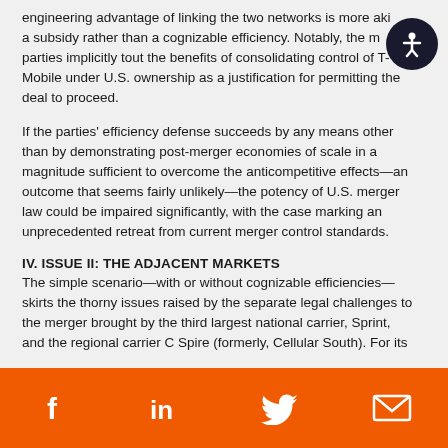engineering advantage of linking the two networks is more akin to a subsidy rather than a cognizable efficiency. Notably, the merging parties implicitly tout the benefits of consolidating control of T-Mobile under U.S. ownership as a justification for permitting the deal to proceed.
If the parties' efficiency defense succeeds by any means other than by demonstrating post-merger economies of scale in a magnitude sufficient to overcome the anticompetitive effects—an outcome that seems fairly unlikely—the potency of U.S. merger law could be impaired significantly, with the case marking an unprecedented retreat from current merger control standards.
IV. ISSUE II: THE ADJACENT MARKETS
The simple scenario—with or without cognizable efficiencies—skirts the thorny issues raised by the separate legal challenges to the merger brought by the third largest national carrier, Sprint, and the regional carrier C Spire (formerly, Cellular South). For its
Social media links: Facebook, LinkedIn, Twitter, Email